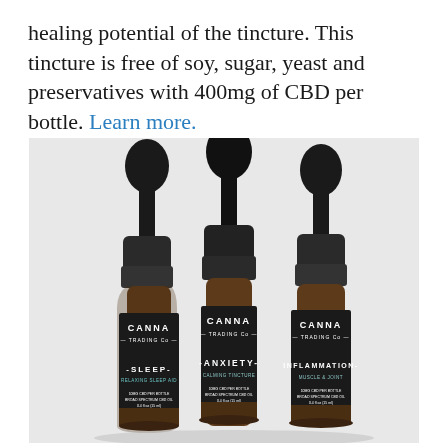healing potential of the tincture. This tincture is free of soy, sugar, yeast and preservatives with 400mg of CBD per bottle. Learn more.
[Figure (photo): Three Canna Trading Co. CBD tincture bottles with black dropper caps and amber glass. Labels read SLEEP (Relaxing Sleep Aid), ANXIETY (Calming Tincture), and INFLAMMATION (Muscle & Joint). Each bottle states 10MG CBD Per Bottle, Broad Spectrum CBD Oil, 0.4 fl oz (15ml).]